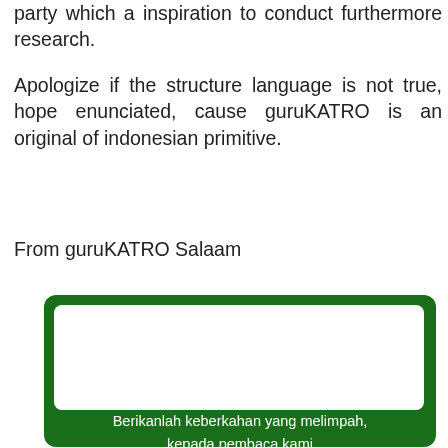party which a inspiration to conduct furthermore research.
Apologize if the structure language is not true, hope enunciated, cause guruKATRO is an original of indonesian primitive.
From guruKATRO Salaam
[Figure (other): Green rounded box with white inner panel and Indonesian prayer text: Ya Allah ya Tuhan Kami Yang Maha Bijaksana, Berikanlah keberkahan yang melimpah, kepada pembaca kami yang tidak memblokir iklan pada halaman ini]